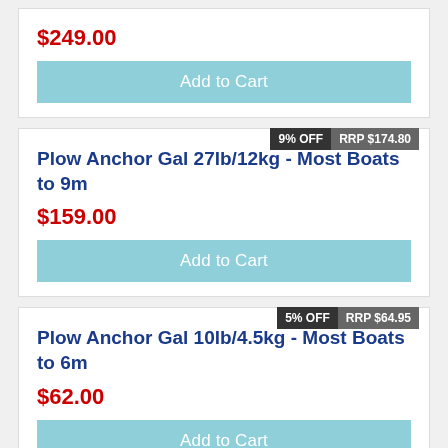$249.00
Add to Cart
9% OFF
RRP $174.80
Plow Anchor Gal 27lb/12kg - Most Boats to 9m
$159.00
Add to Cart
5% OFF
RRP $64.95
Plow Anchor Gal 10lb/4.5kg - Most Boats to 6m
$62.00
Add to Cart